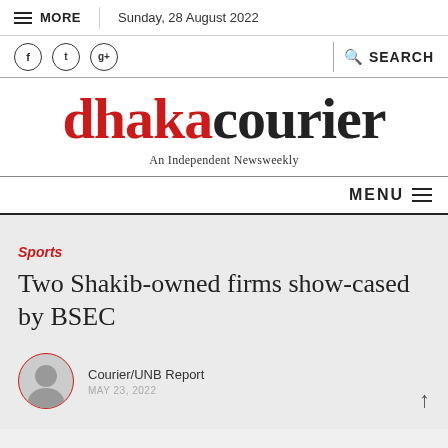MORE  |  Sunday, 28 August 2022
dhakacourier — An Independent Newsweekly
MENU
Sports
Two Shakib-owned firms show-cased by BSEC
Courier/UNB Report
MAY 23, 2022